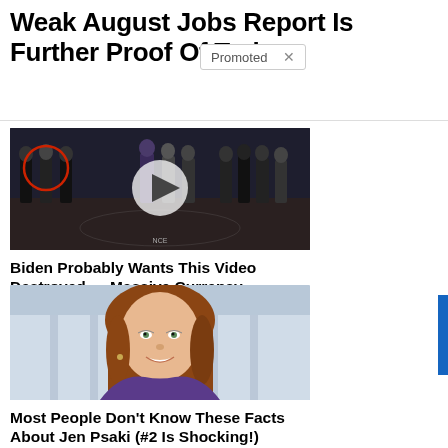Weak August Jobs Report Is Further Proof Of [Promoted ×] nic
[Figure (photo): Group of men in suits standing in a row on what appears to be the CIA seal floor, with a red circle highlighting one person and a video play button overlay in the center]
Biden Probably Wants This Video Destroyed — Massive Currency Upheaval Has Started
🔥 252,083
[Figure (photo): Woman with red/auburn hair smiling, appears to be Jen Psaki, in front of a white building background]
Most People Don't Know These Facts About Jen Psaki (#2 Is Shocking!)
🔥 30,353